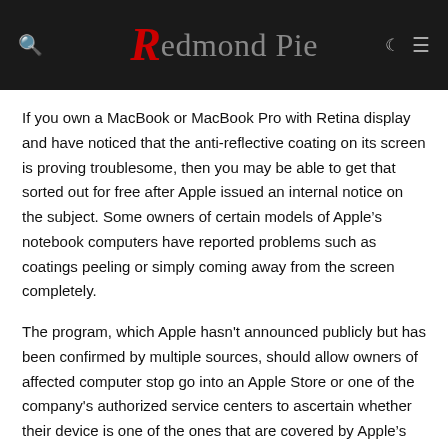Redmond Pie
If you own a MacBook or MacBook Pro with Retina display and have noticed that the anti-reflective coating on its screen is proving troublesome, then you may be able to get that sorted out for free after Apple issued an internal notice on the subject. Some owners of certain models of Apple's notebook computers have reported problems such as coatings peeling or simply coming away from the screen completely.
The program, which Apple hasn't announced publicly but has been confirmed by multiple sources, should allow owners of affected computer stop go into an Apple Store or one of the company's authorized service centers to ascertain whether their device is one of the ones that are covered by Apple's new program. The company will cover affected machines for three full years from purchase, or for a year from October